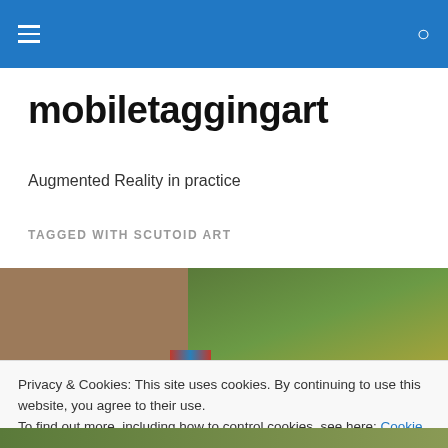mobiletaggingart — site navigation header with hamburger menu and search icon
mobiletaggingart
Augmented Reality in practice
TAGGED WITH SCUTOID ART
[Figure (photo): Photograph of a brick building facade with trees (green and yellow foliage) in the background, with a colorful striped architectural element visible]
Privacy & Cookies: This site uses cookies. By continuing to use this website, you agree to their use.
To find out more, including how to control cookies, see here: Cookie Policy
[Figure (photo): Partial photograph of green grass at the bottom of the page]